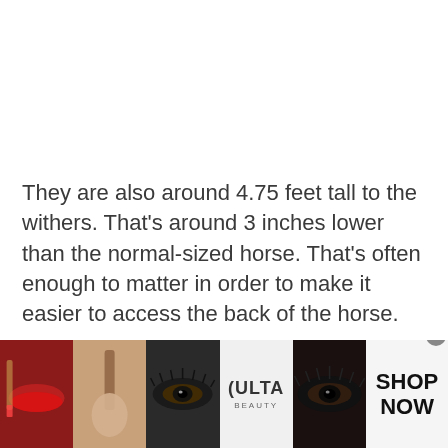They are also around 4.75 feet tall to the withers. That's around 3 inches lower than the normal-sized horse. That's often enough to matter in order to make it easier to access the back of the horse.
So as you can see they live up to their name.
[Figure (other): Advertisement banner for Ulta Beauty showing a strip of makeup-related images: lips with red lipstick, a makeup brush, a close-up eye with eyeliner, the Ulta Beauty logo, another eye with heavy eye makeup, and a 'SHOP NOW' call to action button.]